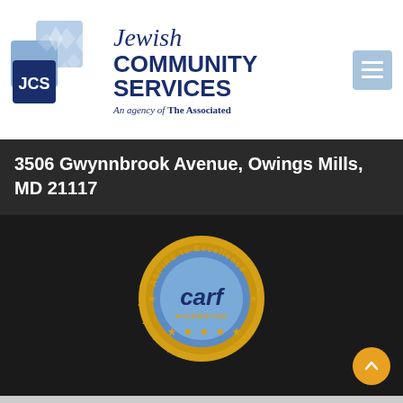[Figure (logo): Jewish Community Services logo with JCS initials in blue squares and geometric shapes, alongside organization name 'Jewish Community Services, An agency of The Associated']
3506 Gwynnbrook Avenue, Owings Mills, MD 21117
[Figure (logo): CARF Accredited gold seal badge with text 'ASPIRE to Excellence' around the border and 'carf ACCREDITED' in the center with blue and gold colors and stars]